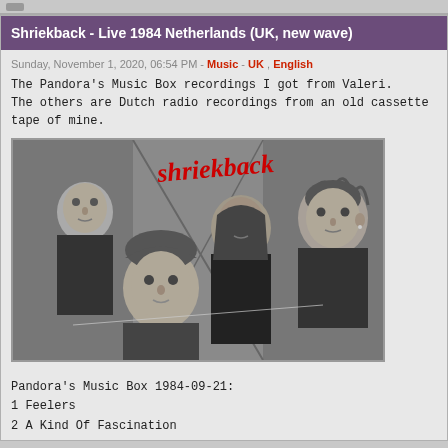Shriekback - Live 1984 Netherlands (UK, new wave)
Sunday, November 1, 2020, 06:54 PM - Music - UK, English
The Pandora's Music Box recordings I got from Valeri.
The others are Dutch radio recordings from an old cassette tape of mine.
[Figure (photo): Black and white promotional photo of Shriekback band members (four men) with red cursive 'shriekback' logo text overlaid on background]
Pandora's Music Box 1984-09-21:
1 Feelers
2 A Kind Of Fascination